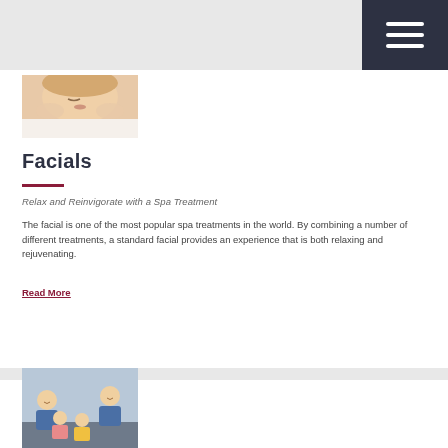[Figure (other): Hamburger menu icon (three white horizontal lines) on dark navy background, top right corner]
[Figure (photo): Woman receiving a facial spa treatment, lying down with eyes closed, hands touching her face]
Facials
Relax and Reinvigorate with a Spa Treatment
The facial is one of the most popular spa treatments in the world. By combining a number of different treatments, a standard facial provides an experience that is both relaxing and rejuvenating.
Read More
[Figure (photo): Family sitting together on a couch, including adults and children, smiling]